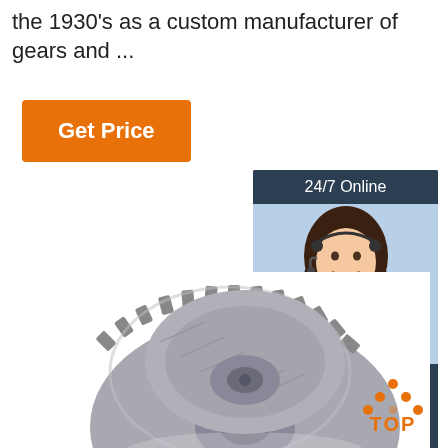the 1930's as a custom manufacturer of gears and ...
[Figure (other): Orange 'Get Price' button]
[Figure (other): 24/7 Online chat widget with customer service representative photo and 'Click here for free chat!' text and orange QUOTATION button]
[Figure (photo): Close-up photograph of a metal helical gear with machined teeth against a white background]
[Figure (other): Orange and white 'TOP' badge with upward arrow/triangle icon made of dots]